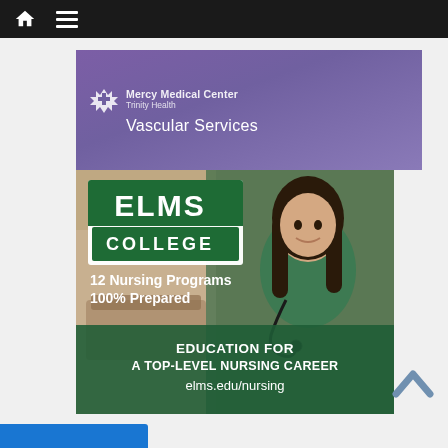[Figure (screenshot): Dark navigation bar with home icon and hamburger menu icon on white/grey background]
[Figure (photo): Mercy Medical Center Trinity Health - Vascular Services advertisement banner with purple/mauve background]
[Figure (photo): Elms College advertisement showing a smiling nursing student in green scrubs with stethoscope. Text: ELMS COLLEGE, 12 Nursing Programs, 100% Prepared, EDUCATION FOR A TOP-LEVEL NURSING CAREER, elms.edu/nursing]
[Figure (other): Back to top chevron arrow icon]